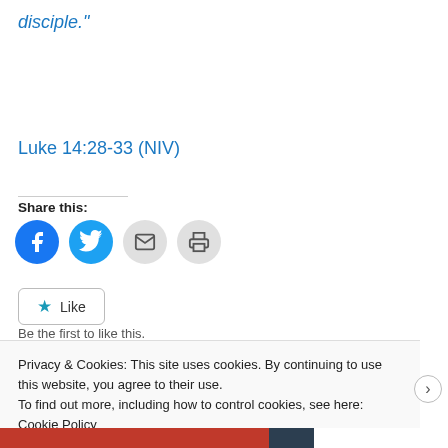disciple."
Luke 14:28-33 (NIV)
Share this:
[Figure (other): Social sharing icons: Facebook (blue circle), Twitter (blue circle), Email (grey circle), Print (grey circle)]
[Figure (other): Like button with star icon and text 'Like']
Be the first to like this.
Privacy & Cookies: This site uses cookies. By continuing to use this website, you agree to their use.
To find out more, including how to control cookies, see here: Cookie Policy
Close and accept